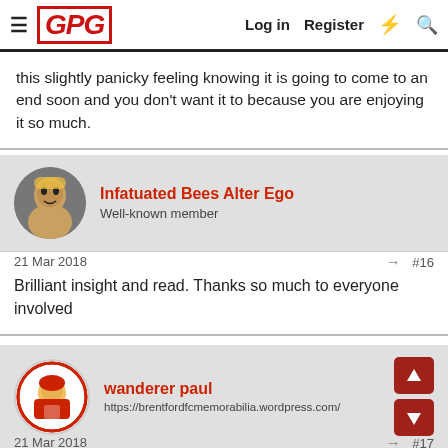GPG | Log in | Register
this slightly panicky feeling knowing it is going to come to an end soon and you don't want it to because you are enjoying it so much.
Infatuated Bees Alter Ego
Well-known member
21 Mar 2018	#16
Brilliant insight and read. Thanks so much to everyone involved
wanderer paul
https://brentfordfcmemorabilia.wordpress.com/
21 Mar 2018	#17